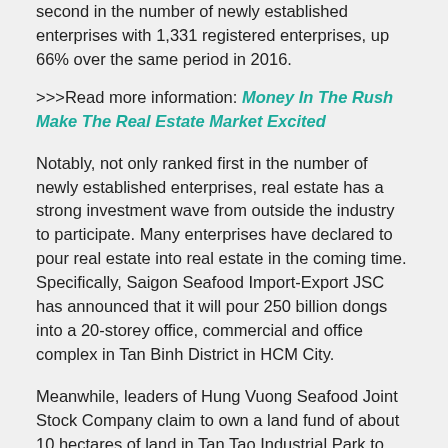second in the number of newly established enterprises with 1,331 registered enterprises, up 66% over the same period in 2016.
>>>Read more information: Money In The Rush Make The Real Estate Market Excited
Notably, not only ranked first in the number of newly established enterprises, real estate has a strong investment wave from outside the industry to participate. Many enterprises have declared to pour real estate into real estate in the coming time. Specifically, Saigon Seafood Import-Export JSC has announced that it will pour 250 billion dongs into a 20-storey office, commercial and office complex in Tan Binh District in HCM City.
Meanwhile, leaders of Hung Vuong Seafood Joint Stock Company claim to own a land fund of about 10 hectares of land in Tan Tao Industrial Park to build a production warehouse. However, in the current context, this land fund can be used as a real estate project. The project in District 6 of this company will not sell to partners, despite the price of 24200 USD, which is expected to invest in investment projects luxury apartment – commercial